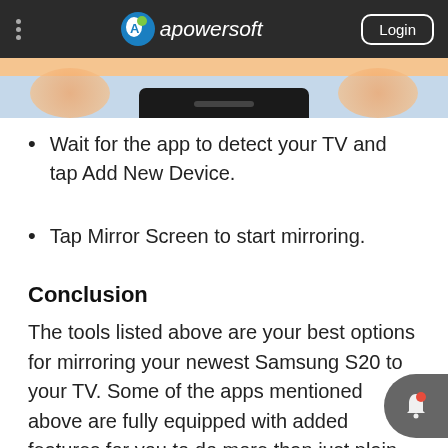Apowersoft | Login
[Figure (screenshot): Partial screenshot of a phone or device interface with orange and blue background colors]
Wait for the app to detect your TV and tap Add New Device.
Tap Mirror Screen to start mirroring.
Conclusion
The tools listed above are your best options for mirroring your newest Samsung S20 to your TV. Some of the apps mentioned above are fully equipped with added features for you to do more than just plain mirroring.